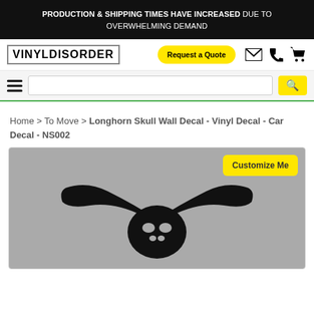PRODUCTION & SHIPPING TIMES HAVE INCREASED DUE TO OVERWHELMING DEMAND
[Figure (logo): Vinyl Disorder logo in block letters with border]
Request a Quote
Search bar with hamburger menu and search button
Home > To Move > Longhorn Skull Wall Decal - Vinyl Decal - Car Decal - NS002
[Figure (photo): Product photo of a black longhorn skull vinyl decal on a grey background with Customize Me button overlay]